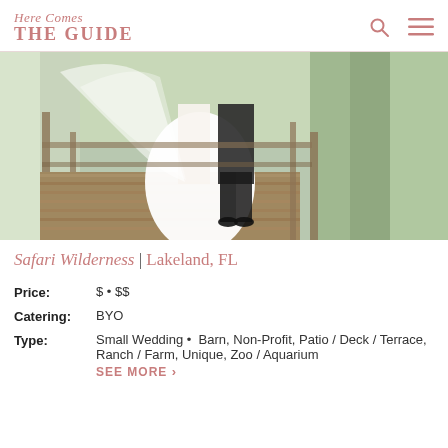Here Comes THE GUIDE
[Figure (photo): Wedding couple standing on a wooden boardwalk surrounded by trees and natural scenery. The bride in a white gown with veil, groom in dark suit, viewed from behind.]
Safari Wilderness | Lakeland, FL
Price: $ • $$
Catering: BYO
Type: Small Wedding • Barn, Non-Profit, Patio / Deck / Terrace, Ranch / Farm, Unique, Zoo / Aquarium
SEE MORE >